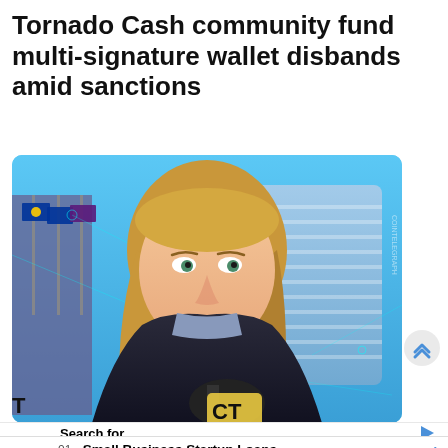Tornado Cash community fund multi-signature wallet disbands amid sanctions
[Figure (illustration): Illustrated image of a blonde woman reporter holding a microphone with the Cointelegraph logo, standing in front of a stylized European Parliament building with blue digital network graphics overlay.]
Search for
01. Small Business Startup Loans
02. How To Setup An Online Business
Yahoo! Search | Sponsored